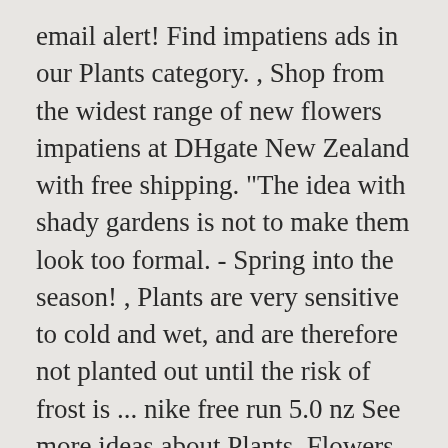email alert! Find impatiens ads in our Plants category. , Shop from the widest range of new flowers impatiens at DHgate New Zealand with free shipping. "The idea with shady gardens is not to make them look too formal. - Spring into the season! , Plants are very sensitive to cold and wet, and are therefore not planted out until the risk of frost is ... nike free run 5.0 nz See more ideas about Plants, Flowers, Planting flowers. wiring a light fitting nz. Notification is required within 30 days of purchase date. | Purple Flower Bushes, Rare Purple Flowers Trivial names: Balsam, Sultana, Impatiens 5. Gravity Bike Storage Rack Carries Two Bikes, DIY Durable Rustproof Aluminum Auto Chicken Feeder. Although many species